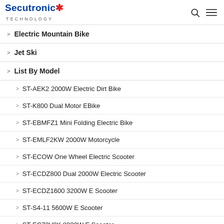Secutronic Technology
Electric Mountain Bike
Jet Ski
List By Model
ST-AEK2 2000W Electric Dirt Bike
ST-K800 Dual Motor EBike
ST-EBMFZ1 Mini Folding Electric Bike
ST-EMLF2KW 2000W Motorcycle
ST-ECOW One Wheel Electric Scooter
ST-ECDZ800 Dual 2000W Electric Scooter
ST-ECDZ1600 3200W E Scooter
ST-S4-11 5600W E Scooter
ST-EC72V8K 8000W E Scooter
E Scooter
English